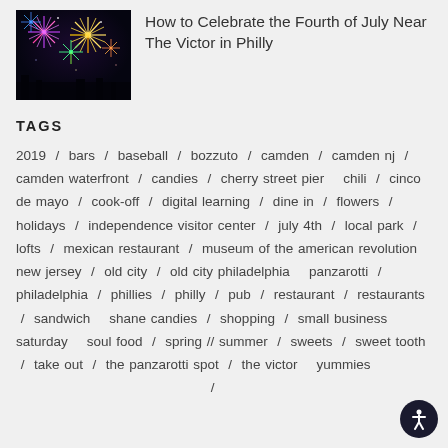[Figure (photo): Fireworks photo thumbnail showing colorful fireworks burst on dark night sky background]
How to Celebrate the Fourth of July Near The Victor in Philly
TAGS
2019 / bars / baseball / bozzuto / camden / camden nj / camden waterfront / candies / cherry street pier  chili / cinco de mayo / cook-off / digital learning / dine in / flowers / holidays / independence visitor center / july 4th / local park / lofts / mexican restaurant / museum of the american revolution  new jersey / old city / old city philadelphia  panzarotti / philadelphia / phillies / philly / pub / restaurant / restaurants / sandwich  shane candies / shopping / small business saturday  soul food / spring // summer / sweets / sweet tooth / take out / the panzarotti spot / the victor  yummies